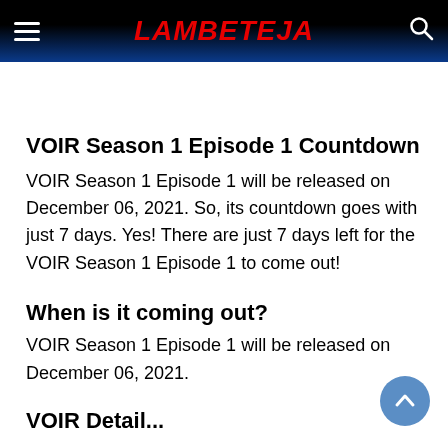LAMBETEJA
VOIR Season 1 Episode 1 Countdown
VOIR Season 1 Episode 1 will be released on December 06, 2021. So, its countdown goes with just 7 days. Yes! There are just 7 days left for the VOIR Season 1 Episode 1 to come out!
When is it coming out?
VOIR Season 1 Episode 1 will be released on December 06, 2021.
VOIR Detail...